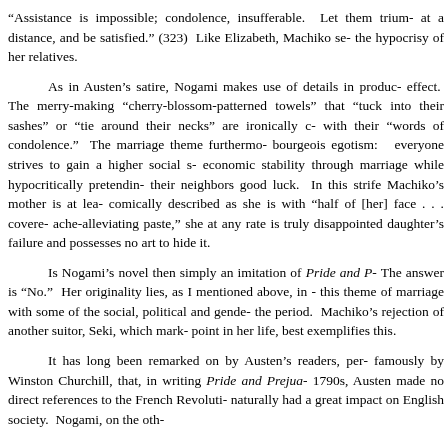“Assistance is impossible; condolence, insufferable. Let them triumph at a distance, and be satisfied.” (323) Like Elizabeth, Machiko sees the hypocrisy of her relatives.
As in Austen’s satire, Nogami makes use of details in producing effect. The merry-making “cherry-blossom-patterned towels” that “tuck into their sashes” or “tie around their necks” are ironically contrasted with their “words of condolence.” The marriage theme furthermore reveals bourgeois egotism: everyone strives to gain a higher social status and economic stability through marriage while hypocritically pretending to wish their neighbors good luck. In this strife Machiko’s mother is at least as comically described as she is with “half of [her] face . . . covered with ache-alleviating paste,” she at any rate is truly disappointed at her daughter’s failure and possesses no art to hide it.
Is Nogami’s novel then simply an imitation of Pride and Prejudice? The answer is “No.” Her originality lies, as I mentioned above, in combining this theme of marriage with some of the social, political and gender issues of the period. Machiko’s rejection of another suitor, Seki, which marks a turning point in her life, best exemplifies this.
It has long been remarked on by Austen’s readers, perhaps most famously by Winston Churchill, that, in writing Pride and Prejudice in the 1790s, Austen made no direct references to the French Revolution, which naturally had a great impact on English society. Nogami, on the other